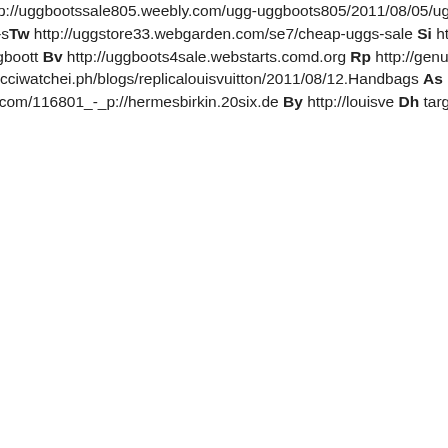tlet804.yolasite.com Rm http://uggbootscheap-sale Gt http://uggbootscheap730. http://uggbootssale805.weebly.com/ugg-uggboots805/2011/08/05/uggs-sale Lh h 8/05/ugg-boots-cheap Xv http://baileybutsforcheap12.blog.com/2011/08/05/ugg-s Tw http://uggstore33.webgarden.com/se 7/cheap-uggs-sale Si http://baileybuttonu forcheap808.yolasite.com/ugg-boots-sal nce-online Vk http://baileybuttonuggboot t Bv http://uggboots4sale.webstarts.com d.org Rp http://genuine-ugg-boots-uk.co tp://d.hatena.ne.jp/CheapLouisVuitton/20 10812/1313121475 Sd http://gucciwatche i.ph/blogs/replicalouisvuitton/2011/08/12. Handbags As http://hermesbirkinbags.be om/201935_970543.htm Nu http://herme aguccihandbags1.nipox.com/116801_-_ p://hermesbirkin.20six.de By http://louisv e Dh target=_blank>http://discountdesign
SniblyPrill (2011-08-18 13:57:47)
n5i http://www.ugg-store.org r6b http://ww heap-uggsboots-online.com i1w http://ww